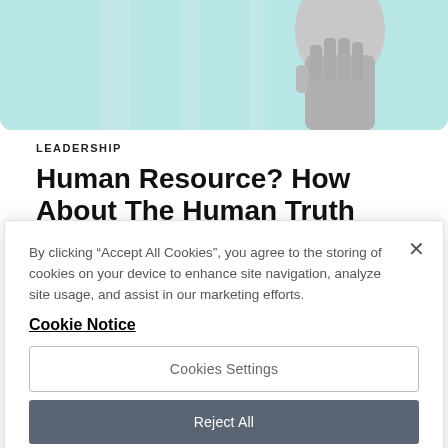[Figure (photo): Top portion of a webpage showing a teal/cyan background with a person's hand/fist silhouette in grayscale on the right side]
LEADERSHIP
Human Resource? How About The Human Truth
By clicking “Accept All Cookies”, you agree to the storing of cookies on your device to enhance site navigation, analyze site usage, and assist in our marketing efforts.
Cookie Notice
Cookies Settings
Reject All
Accept All Cookies